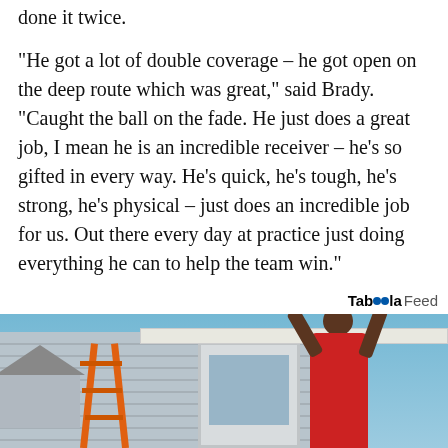done it twice.
"He got a lot of double coverage – he got open on the deep route which was great," said Brady. "Caught the ball on the fade. He just does a great job, I mean he is an incredible receiver – he's so gifted in every way. He's quick, he's tough, he's strong, he's physical – just does an incredible job for us. Out there every day at practice just doing everything he can to help the team win."
Taboola Feed
[Figure (photo): Photo of a person in a red shirt doing pull-ups or installing a fascia board on the exterior of a house, with an orange ladder visible in the foreground and blue siding and sky in the background.]